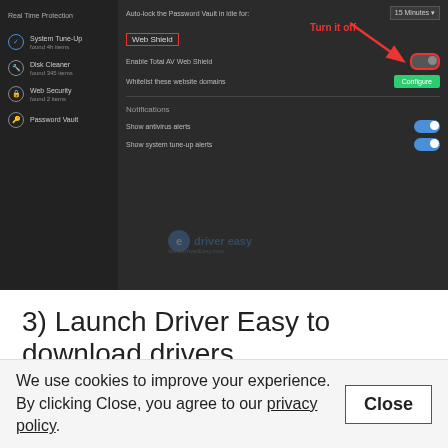[Figure (screenshot): Screenshot of an antivirus software (Total AV) settings panel showing Web Shield toggle turned off, with a red arrow annotation saying 'Turn it off' pointing to a disabled toggle switch. The left sidebar shows Real Time Protection items including System Tune-Up, Disk Cleaner, Web Security, and Password Vault. The main panel shows Web Shield settings with Enable Total AV Web Shield toggle off (highlighted with red border), Whitelist these website domains with Configure button, and Notifications section showing Show antivirus alerts and Show system tune-up alerts both toggled on. Driver Easy watermark is visible.]
3) Launch Driver Easy to download drivers.
Normally, after temporarily disabling the web shield feature, you should be able to download drivers in Driver Easy.
We use cookies to improve your experience. By clicking Close, you agree to our privacy policy.